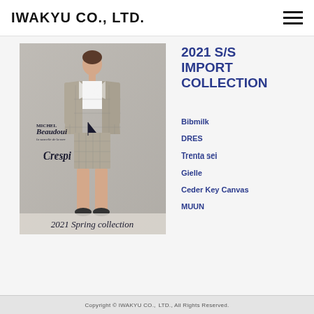IWAKYU CO., LTD.
[Figure (photo): Fashion photo of a woman wearing a plaid blazer and shorts with white top, standing against a concrete wall. Overlaid with brand logos: Michel Beaudouin, Crespi. Text at bottom: 2021 Spring collection]
2021 S/S IMPORT COLLECTION
Bibmilk
DRES
Trenta sei
Gielle
Ceder Key Canvas
MUUN
Copyright © IWAKYU CO., LTD., All Rights Reserved.